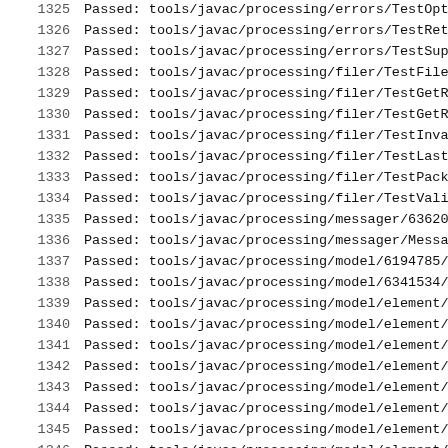1325   Passed: tools/javac/processing/errors/TestOptionS
1326   Passed: tools/javac/processing/errors/TestReturnC
1327   Passed: tools/javac/processing/errors/TestSuppres
1328   Passed: tools/javac/processing/filer/TestFilerCon
1329   Passed: tools/javac/processing/filer/TestGetResou
1330   Passed: tools/javac/processing/filer/TestGetResou
1331   Passed: tools/javac/processing/filer/TestInvalidR
1332   Passed: tools/javac/processing/filer/TestLastRoun
1333   Passed: tools/javac/processing/filer/TestPackageI
1334   Passed: tools/javac/processing/filer/TestValidRel
1335   Passed: tools/javac/processing/messager/6362067/T
1336   Passed: tools/javac/processing/messager/MessagerB
1337   Passed: tools/javac/processing/model/6194785/T619
1338   Passed: tools/javac/processing/model/6341534/T634
1339   Passed: tools/javac/processing/model/element/TestE
1340   Passed: tools/javac/processing/model/element/TestE
1341   Passed: tools/javac/processing/model/element/TestE
1342   Passed: tools/javac/processing/model/element/TestE
1343   Passed: tools/javac/processing/model/element/TestE
1344   Passed: tools/javac/processing/model/element/TestE
1345   Passed: tools/javac/processing/model/element/TestE
1346   Passed: tools/javac/processing/model/element/TestE
1347   Passed: tools/javac/processing/model/element/TestE